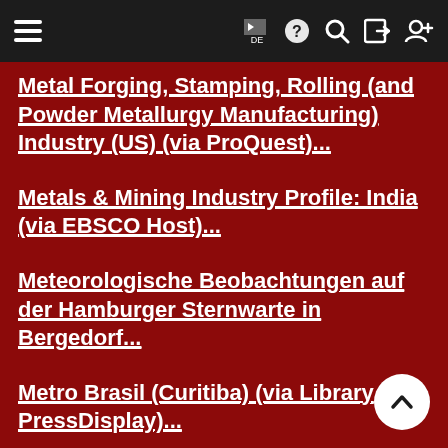Navigation bar with hamburger menu, flag icon (DE), help, search, login, and register icons
Metal Forging, Stamping, Rolling (and Powder Metallurgy Manufacturing) Industry (US) (via ProQuest)...
Metals & Mining Industry Profile: India (via EBSCO Host)...
Meteorologische Beobachtungen auf der Hamburger Sternwarte in Bergedorf...
Metro Brasil (Curitiba) (via Library PressDisplay)...